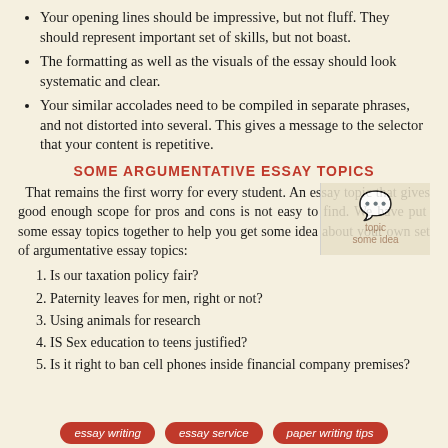Your opening lines should be impressive, but not fluff. They should represent important set of skills, but not boast.
The formatting as well as the visuals of the essay should look systematic and clear.
Your similar accolades need to be compiled in separate phrases, and not distorted into several. This gives a message to the selector that your content is repetitive.
SOME ARGUMENTATIVE ESSAY TOPICS
That remains the first worry for every student. An essay topic that gives good enough scope for pros and cons is not easy to find. We have put some essay topics together to help you get some idea about your own set of argumentative essay topics:
Is our taxation policy fair?
Paternity leaves for men, right or not?
Using animals for research
IS Sex education to teens justified?
Is it right to ban cell phones inside financial company premises?
essay writing   essay service   paper writing tips